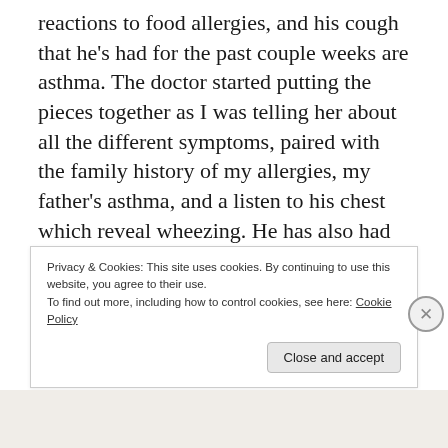reactions to food allergies, and his cough that he's had for the past couple weeks are asthma. The doctor started putting the pieces together as I was telling her about all the different symptoms, paired with the family history of my allergies, my father's asthma, and a listen to his chest which reveal wheezing. He has also had eczema since he was a baby. They all pointed to asthma. He has an appointment with an allergist to find possible triggers and a follow up with his pediatrician in two weeks.  So his
Privacy & Cookies: This site uses cookies. By continuing to use this website, you agree to their use.
To find out more, including how to control cookies, see here: Cookie Policy